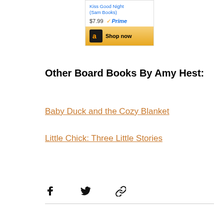[Figure (screenshot): Amazon widget showing 'Kiss Good Night (Sam Books)' priced at $7.99 with Prime badge and a 'Shop now' button with Amazon logo on gold background]
Other Board Books By Amy Hest:
Baby Duck and the Cozy Blanket
Little Chick: Three Little Stories
[Figure (infographic): Social share icons: Facebook, Twitter, and link/chain icon]